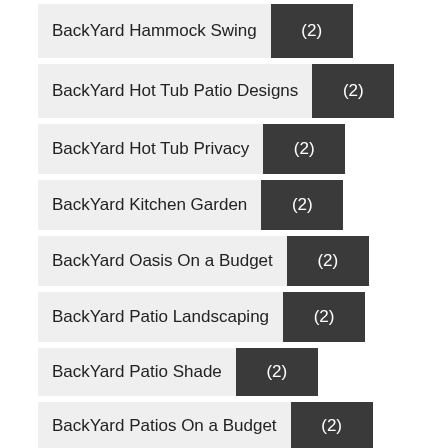BackYard Hammock Swing (2)
BackYard Hot Tub Patio Designs (2)
BackYard Hot Tub Privacy (2)
BackYard Kitchen Garden (2)
BackYard Oasis On a Budget (2)
BackYard Patio Landscaping (2)
BackYard Patio Shade (2)
BackYard Patios On a Budget (2)
BackYard Paver Patio (2)
BackYard Porch Designs (2)
BackYard Privacy Fence (2)
BackYard Privacy Trees (2)
BackYard Projects On a Budget (2)